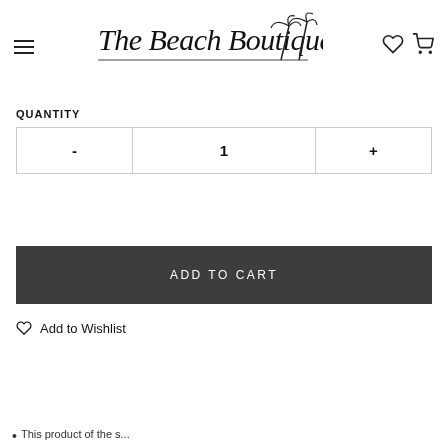The Beach Boutique — navigation header with hamburger menu, logo, wishlist and cart icons
QUANTITY
| - | 1 | + |
| --- | --- | --- |
ADD TO CART
♡ Add to Wishlist
This product of the s...